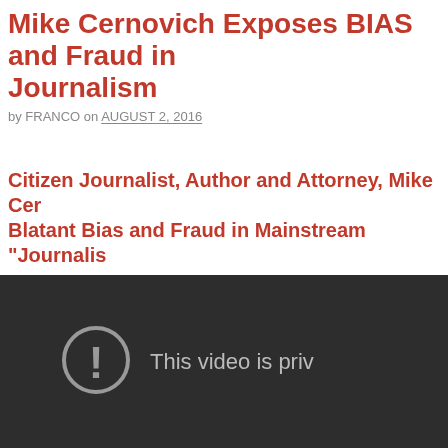Mike Cernovich Exposes BIAS and Fraud in Journalism
by FRANCO on AUGUST 2, 2016
Citizen Journalist, Author and Attorney, Mike Cernovich Exposes Blatant Bias and Fraud in Mainstream “Journalism”
[Figure (screenshot): Embedded video player showing a dark background with a circle exclamation icon and the text 'This video is priv' (private), indicating the video is unavailable.]